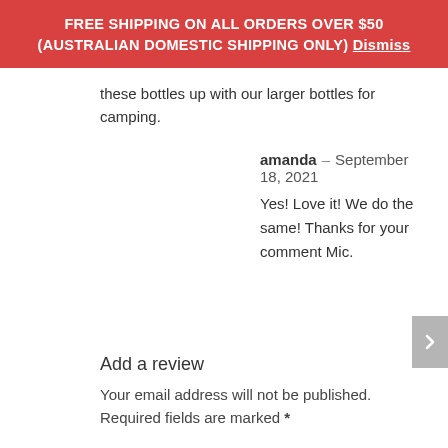FREE SHIPPING ON ALL ORDERS OVER $50 (AUSTRALIAN DOMESTIC SHIPPING ONLY) Dismiss
these bottles up with our larger bottles for camping.
amanda – September 18, 2021
Yes! Love it! We do the same! Thanks for your comment Mic.
Add a review
Your email address will not be published. Required fields are marked *
Your rating